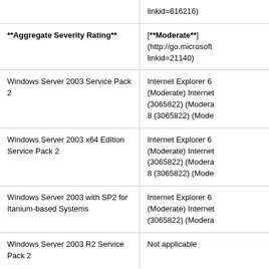|  |  |
| --- | --- |
|  | linkid=616216) |
| **Aggregate Severity Rating** | [**Moderate**] (http://go.microsoft linkid=21140) |
| Windows Server 2003 Service Pack 2 | Internet Explorer 6 (Moderate) Internet (3065822) (Modera 8 (3065822) (Mode |
| Windows Server 2003 x64 Edition Service Pack 2 | Internet Explorer 6 (Moderate) Internet (3065822) (Modera 8 (3065822) (Mode |
| Windows Server 2003 with SP2 for Itanium-based Systems | Internet Explorer 6 (Moderate) Internet (3065822) (Modera |
| Windows Server 2003 R2 Service Pack 2 | Not applicable |